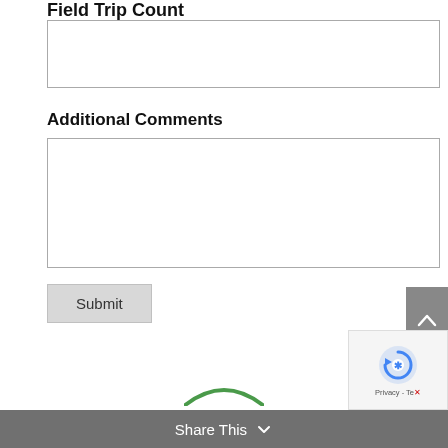Field Trip Count
[input field]
Additional Comments
[textarea field]
Submit
Share This